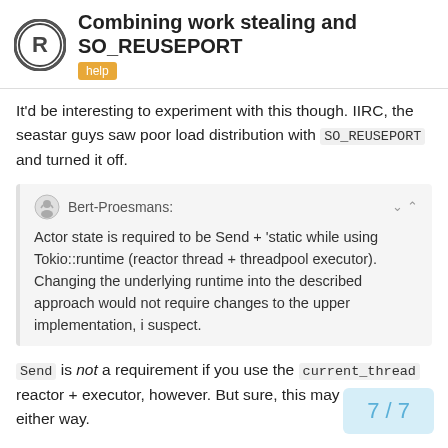Combining work stealing and SO_REUSEPORT — help
It'd be interesting to experiment with this though. IIRC, the seastar guys saw poor load distribution with SO_REUSEPORT and turned it off.
Bert-Proesmans: Actor state is required to be Send + 'static while using Tokio::runtime (reactor thread + threadpool executor). Changing the underlying runtime into the described approach would not require changes to the upper implementation, i suspect.
Send is not a requirement if you use the current_thread reactor + executor, however. But sure, this may not matter either way.
7 / 7